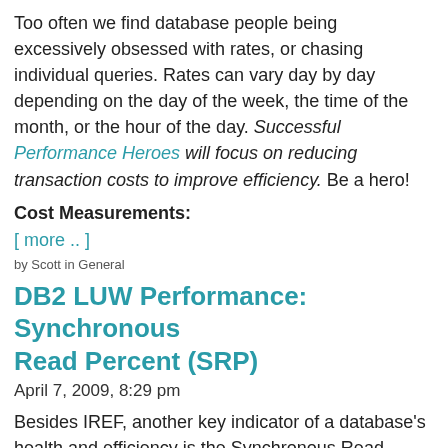Too often we find database people being excessively obsessed with rates, or chasing individual queries. Rates can vary day by day depending on the day of the week, the time of the month, or the hour of the day. Successful Performance Heroes will focus on reducing transaction costs to improve efficiency. Be a hero!
Cost Measurements:
[ more .. ]
by Scott in General
DB2 LUW Performance: Synchronous Read Percent (SRP)
April 7, 2009, 8:29 pm
Besides IREF, another key indicator of a database's health and efficiency is the Synchronous Read Percentage, or SRP. When DB2 has good indexes available to retrieve